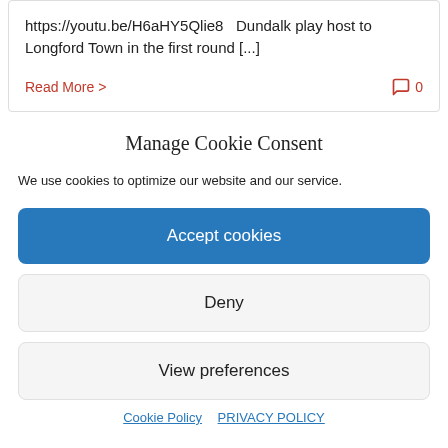https://youtu.be/H6aHY5Qlie8   Dundalk play host to Longford Town in the first round [...]
Read More >
0
Manage Cookie Consent
We use cookies to optimize our website and our service.
Accept cookies
Deny
View preferences
Cookie Policy   PRIVACY POLICY